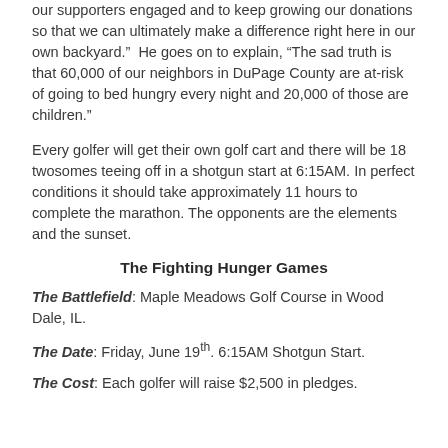our supporters engaged and to keep growing our donations so that we can ultimately make a difference right here in our own backyard.”  He goes on to explain, “The sad truth is that 60,000 of our neighbors in DuPage County are at-risk of going to bed hungry every night and 20,000 of those are children.”
Every golfer will get their own golf cart and there will be 18 twosomes teeing off in a shotgun start at 6:15AM. In perfect conditions it should take approximately 11 hours to complete the marathon. The opponents are the elements and the sunset.
The Fighting Hunger Games
The Battlefield: Maple Meadows Golf Course in Wood Dale, IL.
The Date: Friday, June 19th. 6:15AM Shotgun Start.
The Cost: Each golfer will raise $2,500 in pledges.